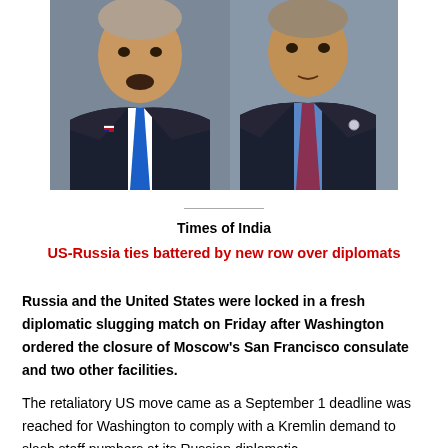[Figure (photo): Two men in dark suits standing side by side, likely Trump and Putin, with a red background element suggesting a Russian flag.]
Times of India
US-Russia ties battered by new row over diplomats
Russia and the United States were locked in a fresh diplomatic slugging match on Friday after Washington ordered the closure of Moscow's San Francisco consulate and two other facilities.
The retaliatory US move came as a September 1 deadline was reached for Washington to comply with a Kremlin demand to slash staff numbers at its Russian diplomatic